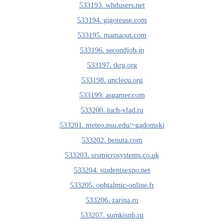533193. whdusers.net
533194. gigoteuse.com
533195. mamaout.com
533196. secondjob.jp
533197. tkrg.org
533198. unclecu.org
533199. asgamer.com
533200. luch-vlad.ru
533201. meteo.psu.edu/~gadomski
533202. benuta.com
533203. srsmicrosystems.co.uk
533204. studentsexpo.net
533205. ophtalmic-online.fr
533206. zarina.ru
533207. sumkisnb.ru